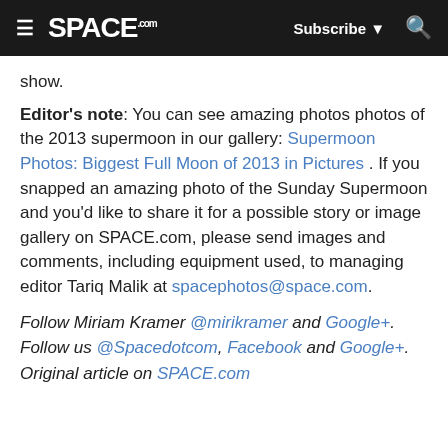SPACE.com — Subscribe — Search
show.
Editor's note: You can see amazing photos photos of the 2013 supermoon in our gallery: Supermoon Photos: Biggest Full Moon of 2013 in Pictures . If you snapped an amazing photo of the Sunday Supermoon and you'd like to share it for a possible story or image gallery on SPACE.com, please send images and comments, including equipment used, to managing editor Tariq Malik at spacephotos@space.com.
Follow Miriam Kramer @mirikramer and Google+. Follow us @Spacedotcom, Facebook and Google+. Original article on SPACE.com